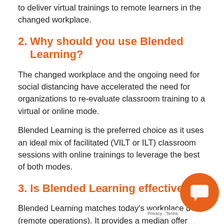to deliver virtual trainings to remote learners in the changed workplace.
2. Why should you use Blended Learning?
The changed workplace and the ongoing need for social distancing have accelerated the need for organizations to re-evaluate classroom training to a virtual or online mode.
Blended Learning is the preferred choice as it uses an ideal mix of facilitated (VILT or ILT) classroom sessions with online trainings to leverage the best of both modes.
3. Is Blended Learning effective?
Blended Learning matches today's workplace d... (remote operations). It provides a median offer... two modes, VILT sessions with Self-paced Online